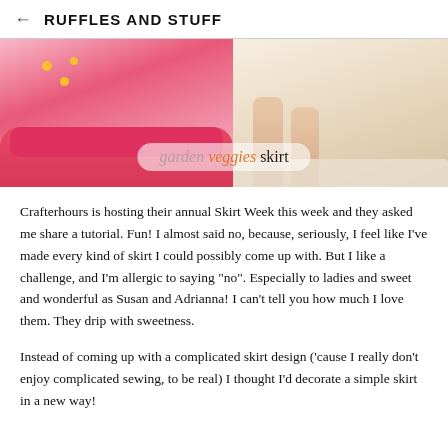← RUFFLES AND STUFF
[Figure (photo): Blog post hero image showing a pink garden veggies skirt on the left side and a child's feet on a furry rug on the right side, with overlay text reading 'garden veggies skirt']
Crafterhours is hosting their annual Skirt Week this week and they asked me share a tutorial. Fun! I almost said no, because, seriously, I feel like I've made every kind of skirt I could possibly come up with. But I like a challenge, and I'm allergic to saying "no". Especially to ladies and sweet and wonderful as Susan and Adrianna! I can't tell you how much I love them. They drip with sweetness.
Instead of coming up with a complicated skirt design ('cause I really don't enjoy complicated sewing, to be real) I thought I'd decorate a simple skirt in a new way!